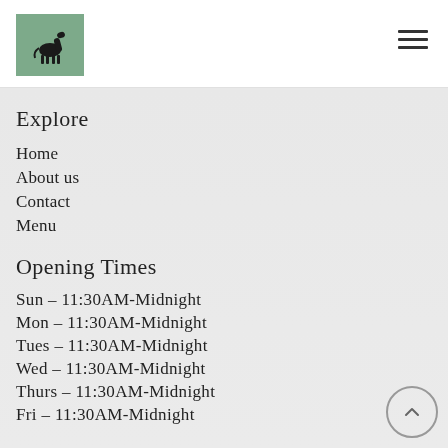[Figure (logo): Green square logo with black horse silhouette]
[Figure (other): Hamburger menu icon (three horizontal lines)]
Explore
Home
About us
Contact
Menu
Opening Times
Sun – 11:30AM-Midnight
Mon – 11:30AM-Midnight
Tues – 11:30AM-Midnight
Wed – 11:30AM-Midnight
Thurs – 11:30AM-Midnight
Fri – 11:30AM-Midnight